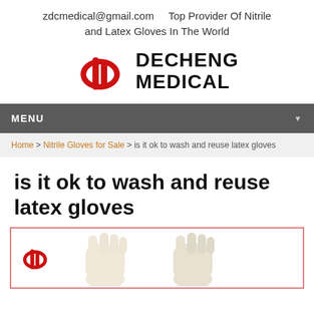zdcmedical@gmail.com    Top Provider Of Nitrile and Latex Gloves In The World
[Figure (logo): Decheng Medical logo with red oval/bar icon and bold black text DECHENG MEDICAL]
MENU
Home > Nitrile Gloves for Sale > is it ok to wash and reuse latex gloves
is it ok to wash and reuse latex gloves
[Figure (photo): Image of latex gloves with Decheng Medical logo watermark on pink-bordered white background]